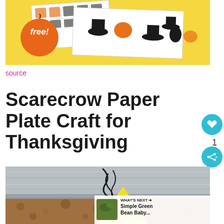[Figure (photo): Thanksgiving printable craft sheets with Pilgrim hats, pumpkins, and silhouettes on a yellow background, with an orange 'free!' badge overlay]
source
Scarecrow Paper Plate Craft for Thanksgiving
[Figure (photo): Scarecrow paper plate craft in progress on a wood table background, showing black yarn and yellow triangle body with brown wrapping paper, with a 'What's Next' thumbnail for Simple Green Bean Baby...]